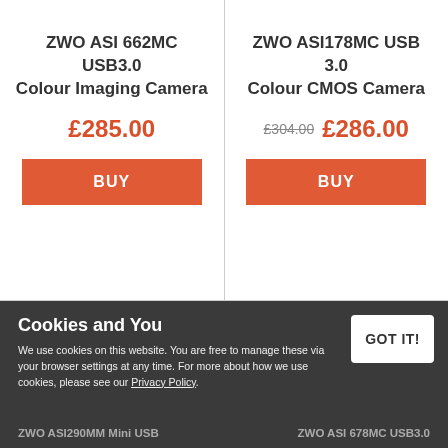ZWO ASI 662MC USB3.0 Colour Imaging Camera
£285.00
ZWO ASI178MC USB 3.0 Colour CMOS Camera
£304.00  £286.00
Cookies and You
We use cookies on this website. You are free to manage these via your browser settings at any time. For more about how we use cookies, please see our Privacy Policy.
ZWO ASI290MM Mini USB
ZWO ASI 678MC USB3.0